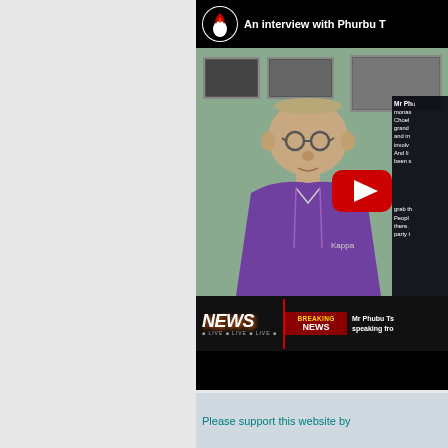[Figure (screenshot): YouTube video thumbnail showing an interview with Phurbu T. An elderly Asian man in a purple polo shirt sits in front of photos on a wall. The video has a black top bar with a flame logo and title 'An interview with Phurbu T'. A YouTube play button overlay is visible. The bottom has a breaking news banner reading 'NEWS | BREAKING NEWS | Mr Phubu Ts... speaking fro...'. A side text panel on the right describes Mr Phu... with text about monastery, Choel, grandchildren, and involvement.]
Please support this website by